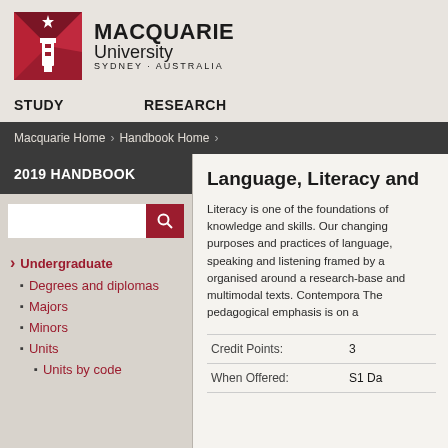MACQUARIE University SYDNEY·AUSTRALIA
STUDY   RESEARCH
Macquarie Home › Handbook Home ›
2019 HANDBOOK
Language, Literacy and...
Literacy is one of the foundations of knowledge and skills. Our changing purposes and practices of language, speaking and listening framed by a organised around a research-base and multimodal texts. Contempora The pedagogical emphasis is on a
| Credit Points: | 3 |
| --- | --- |
| When Offered: | S1 Da... |
Undergraduate
Degrees and diplomas
Majors
Minors
Units
Units by code